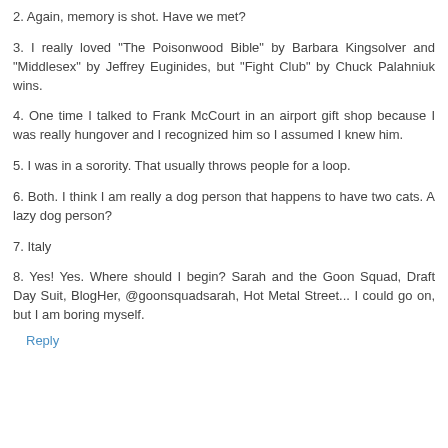2. Again, memory is shot. Have we met?
3. I really loved "The Poisonwood Bible" by Barbara Kingsolver and "Middlesex" by Jeffrey Euginides, but "Fight Club" by Chuck Palahniuk wins.
4. One time I talked to Frank McCourt in an airport gift shop because I was really hungover and I recognized him so I assumed I knew him.
5. I was in a sorority. That usually throws people for a loop.
6. Both. I think I am really a dog person that happens to have two cats. A lazy dog person?
7. Italy
8. Yes! Yes. Where should I begin? Sarah and the Goon Squad, Draft Day Suit, BlogHer, @goonsquadsarah, Hot Metal Street... I could go on, but I am boring myself.
Reply